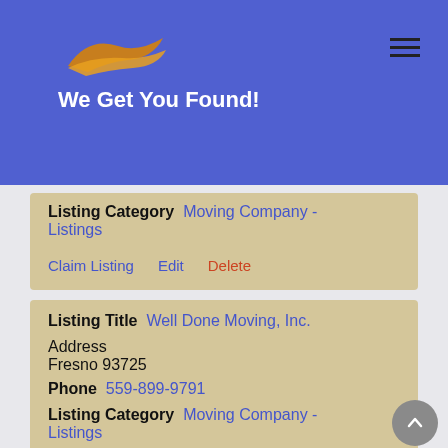We Get You Found!
Listing Category  Moving Company - Listings
Claim Listing  Edit  Delete
Listing Title  Well Done Moving, Inc.
Address
Fresno 93725
Phone  559-899-9791
Listing Category  Moving Company - Listings